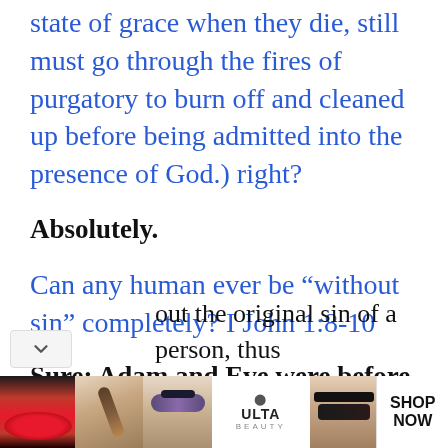state of grace when they die, still must go through the fires of purgatory to burn off and cleaned up before being admitted into the presence of God.) right?
Absolutely.
Can any human ever be “without sin” completely? I John 1:8-10
Sure: Adam and Eve were before the Fall. That is good Protestant theology and undeniable. God could choose at any time to
out the original sin of a person, thus
[Figure (photo): Ulta Beauty advertisement banner showing close-up images of lips with red lipstick, makeup brush, eyes with eyeshadow, Ulta Beauty logo, and bold eye makeup, with a 'SHOP NOW' call to action]